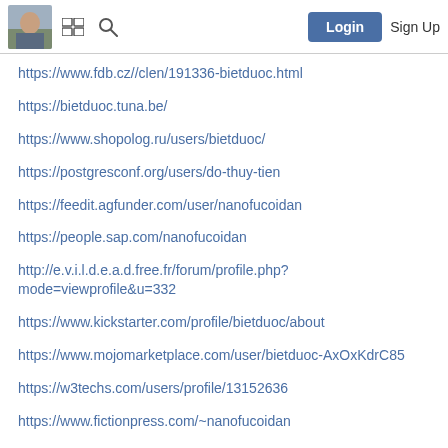Login | Sign Up
https://www.fdb.cz//clen/191336-bietduoc.html
https://bietduoc.tuna.be/
https://www.shopolog.ru/users/bietduoc/
https://postgresconf.org/users/do-thuy-tien
https://feedit.agfunder.com/user/nanofucoidan
https://people.sap.com/nanofucoidan
http://e.v.i.l.d.e.a.d.free.fr/forum/profile.php?mode=viewprofile&u=332
https://www.kickstarter.com/profile/bietduoc/about
https://www.mojomarketplace.com/user/bietduoc-AxOxKdrC85
https://w3techs.com/users/profile/13152636
https://www.fictionpress.com/~nanofucoidan